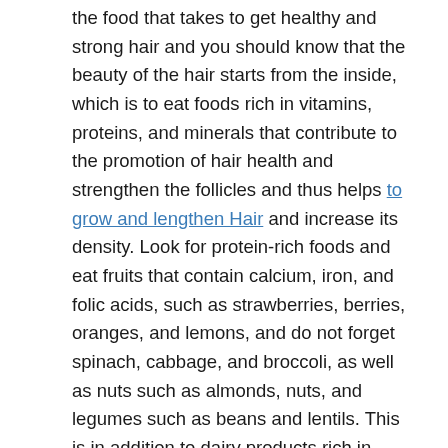the food that takes to get healthy and strong hair and you should know that the beauty of the hair starts from the inside, which is to eat foods rich in vitamins, proteins, and minerals that contribute to the promotion of hair health and strengthen the follicles and thus helps to grow and lengthen Hair and increase its density. Look for protein-rich foods and eat fruits that contain calcium, iron, and folic acids, such as strawberries, berries, oranges, and lemons, and do not forget spinach, cabbage, and broccoli, as well as nuts such as almonds, nuts, and legumes such as beans and lentils. This is in addition to dairy products rich in protein.
2. Cut the hair ends
One of the most effective tricks in prolonging hair